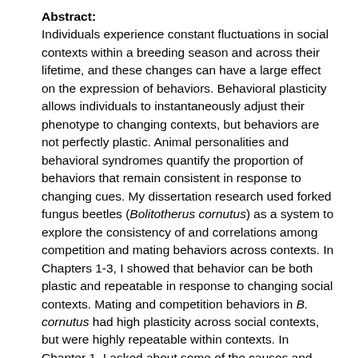Abstract: Individuals experience constant fluctuations in social contexts within a breeding season and across their lifetime, and these changes can have a large effect on the expression of behaviors. Behavioral plasticity allows individuals to instantaneously adjust their phenotype to changing contexts, but behaviors are not perfectly plastic. Animal personalities and behavioral syndromes quantify the proportion of behaviors that remain consistent in response to changing cues. My dissertation research used forked fungus beetles (Bolitotherus cornutus) as a system to explore the consistency of and correlations among competition and mating behaviors across contexts. In Chapters 1-3, I showed that behavior can be both plastic and repeatable in response to changing social contexts. Mating and competition behaviors in B. cornutus had high plasticity across social contexts, but were highly repeatable within contexts. In Chapter 1, I asked about some of the causes and consequences of behaviors initiated during competition. Larger, more aggressive males were more likely to win male-male competition, while females did not act competitively towards their female partners. In Chapter